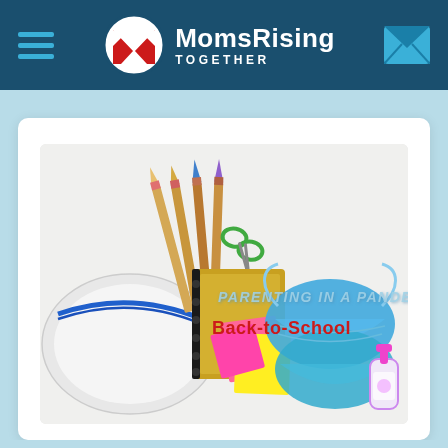MomsRising Together
[Figure (photo): School supplies including pencils, scissors, notebook, colorful sticky notes, blue face masks, and hand sanitizer spilling out of a pencil case on a white background. Text overlay reads 'PARENTING IN A PANDEMIC' and 'Back-to-School'.]